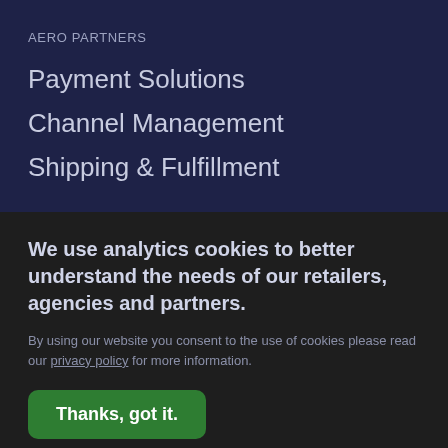AERO PARTNERS
Payment Solutions
Channel Management
Shipping & Fulfillment
We use analytics cookies to better understand the needs of our retailers, agencies and partners.
By using our website you consent to the use of cookies please read our privacy policy for more information.
Thanks, got it.
Please do not track my visit